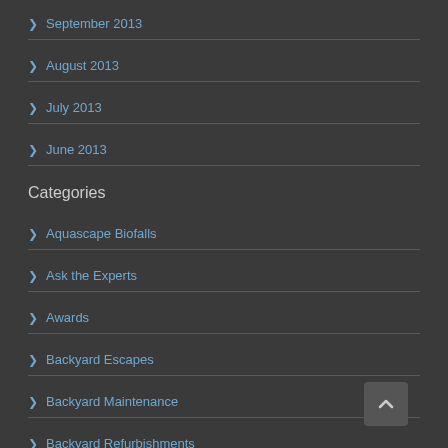September 2013
August 2013
July 2013
June 2013
Categories
Aquascape Biofalls
Ask the Experts
Awards
Backyard Escapes
Backyard Maintenance
Backyard Refurbishments